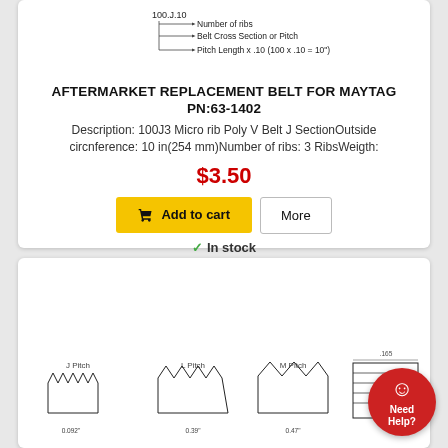[Figure (schematic): Belt part number labeling diagram showing 100J10 with arrows pointing to: Number of ribs, Belt Cross Section or Pitch, Pitch Length x .10 (100 x .10 = 10")]
AFTERMARKET REPLACEMENT BELT FOR MAYTAG PN:63-1402
Description: 100J3 Micro rib Poly V Belt J SectionOutside circnference: 10 in(254 mm)Number of ribs: 3 RibsWeigth:
$3.50
Add to cart
More
In stock
[Figure (engineering-diagram): Belt cross-section diagrams showing J Pitch, L Pitch, M Pitch and a ribbed belt profile with dimension annotations]